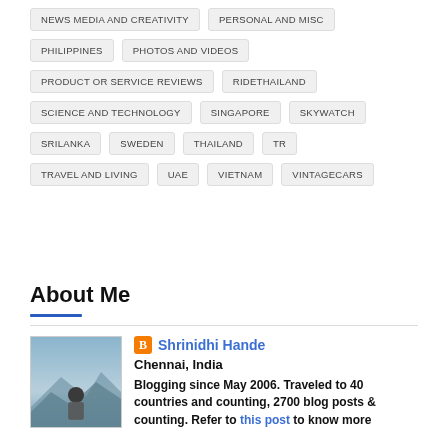NEWS MEDIA AND CREATIVITY
PERSONAL AND MISC
PHILIPPINES
PHOTOS AND VIDEOS
PRODUCT OR SERVICE REVIEWS
RIDETHAILAND
SCIENCE AND TECHNOLOGY
SINGAPORE
SKYWATCH
SRILANKA
SWEDEN
THAILAND
TR
TRAVEL AND LIVING
UAE
VIETNAM
VINTAGECARS
About Me
Shrinidhi Hande
Chennai, India
Blogging since May 2006. Traveled to 40 countries and counting, 2700 blog posts & counting. Refer to this post to know more